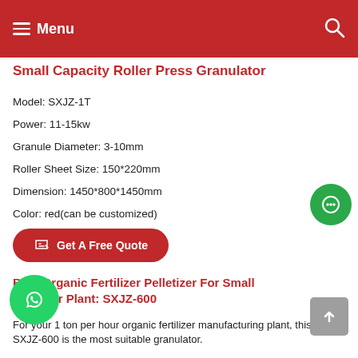Menu
Small Capacity Roller Press Granulator
Model: SXJZ-1T
Power: 11-15kw
Granule Diameter: 3-10mm
Roller Sheet Size: 150*220mm
Dimension: 1450*800*1450mm
Color: red(can be customized)
Get A Free Quote
Best Organic Fertilizer Pelletizer For Small Fertilizer Plant: SXJZ-600
For your 1 ton per hour organic fertilizer manufacturing plant, this SXJZ-600 is the most suitable granulator.